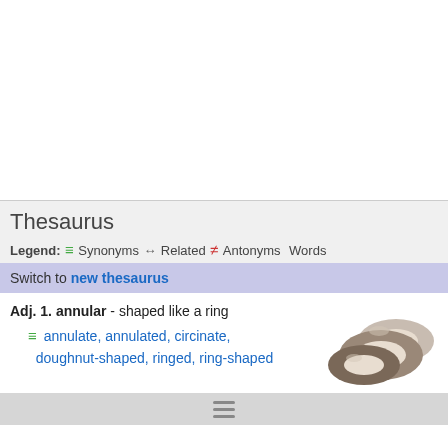Thesaurus
Legend: ≡ Synonyms ↔ Related ≠ Antonyms Words
Switch to new thesaurus
Adj. 1. annular - shaped like a ring
≡ annulate, annulated, circinate, doughnut-shaped, ringed, ring-shaped
[Figure (illustration): Illustration of ring-shaped doughnuts/tori stacked together]